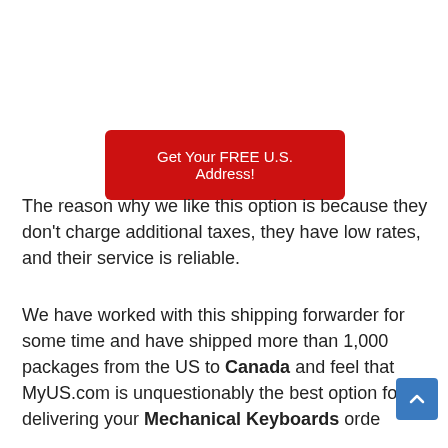[Figure (other): Red button with white text reading 'Get Your FREE U.S. Address!']
The reason why we like this option is because they don't charge additional taxes, they have low rates, and their service is reliable.
We have worked with this shipping forwarder for some time and have shipped more than 1,000 packages from the US to Canada and feel that MyUS.com is unquestionably the best option for delivering your Mechanical Keyboards orde...
If ...